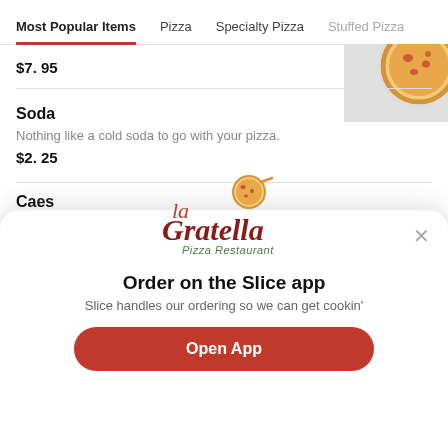Most Popular Items  Pizza  Specialty Pizza  Stuffed Pizza
$7.95
[Figure (photo): Photo of a pizza in a round dish, seen from above, partially visible at top right]
Soda
Nothing like a cold soda to go with your pizza.
$2.25
Caes
[Figure (logo): La Gratella Pizza Restaurant logo with script lettering and pizza illustration]
Order on the Slice app
Slice handles our ordering so we can get cookin'
Open App